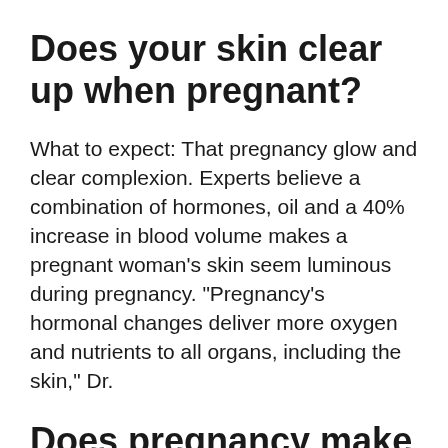Does your skin clear up when pregnant?
What to expect: That pregnancy glow and clear complexion. Experts believe a combination of hormones, oil and a 40% increase in blood volume makes a pregnant woman’s skin seem luminous during pregnancy. “Pregnancy’s hormonal changes deliver more oxygen and nutrients to all organs, including the skin,” Dr.
Does pregnancy make your acne better or worse?
Pregnancy often causes acne because of an increase in androgen hormones. Pregnancy